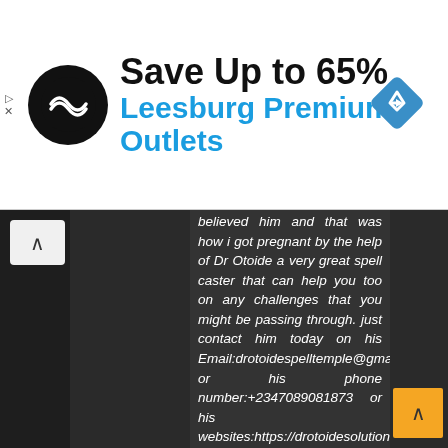[Figure (screenshot): Advertisement banner: black circular logo with double-arrow symbol, text 'Save Up to 65%' in bold black, 'Leesburg Premium Outlets' in blue, blue diamond navigation icon on right, small play and close icons on left]
believed him and that was how i got pregnant by the help of Dr Otoide a very great spell caster that can help you too on any challenges that you might be passing through. just contact him today on his Email:drotoidespelltemple@gmail.com or his phone number:+2347089081873 or his websites:https://drotoidesolutionte.wixsit